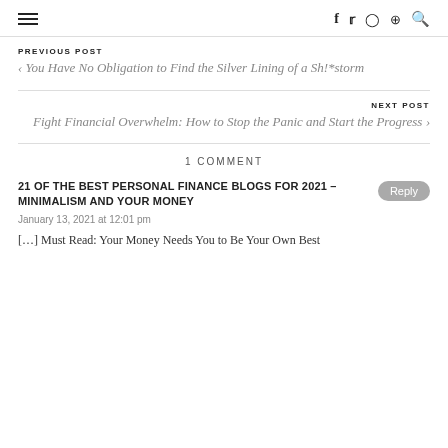≡  f  𝕏  ⊙  ⊕  🔍
PREVIOUS POST
< You Have No Obligation to Find the Silver Lining of a Sh!*storm
NEXT POST
Fight Financial Overwhelm: How to Stop the Panic and Start the Progress >
1 COMMENT
21 OF THE BEST PERSONAL FINANCE BLOGS FOR 2021 – MINIMALISM AND YOUR MONEY
January 13, 2021 at 12:01 pm
[…] Must Read: Your Money Needs You to Be Your Own Best